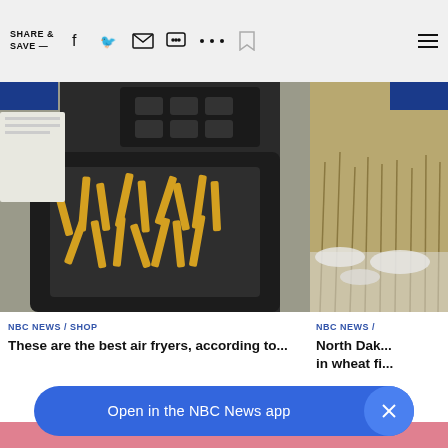SHARE & SAVE —
[Figure (photo): An air fryer with a basket full of french fries, black appliance on a grey surface, top-down view]
[Figure (photo): Partially visible image of a snowy wheat field with dry grass/stalks]
NBC NEWS / SHOP
These are the best air fryers, according to...
NBC NEWS /
North Dak... in wheat fi...
[Figure (photo): Bottom of page: partially visible image of a person with brown hair, pink background]
Open in the NBC News app